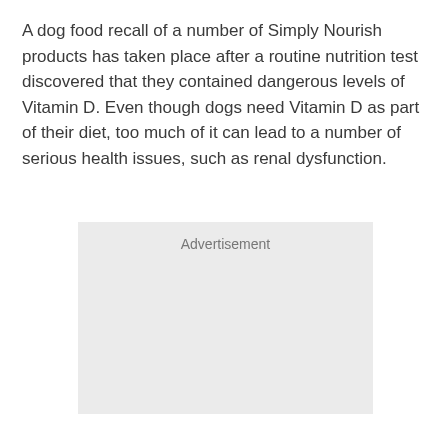A dog food recall of a number of Simply Nourish products has taken place after a routine nutrition test discovered that they contained dangerous levels of Vitamin D. Even though dogs need Vitamin D as part of their diet, too much of it can lead to a number of serious health issues, such as renal dysfunction.
[Figure (other): Advertisement placeholder box with light gray background and 'Advertisement' label at top center.]